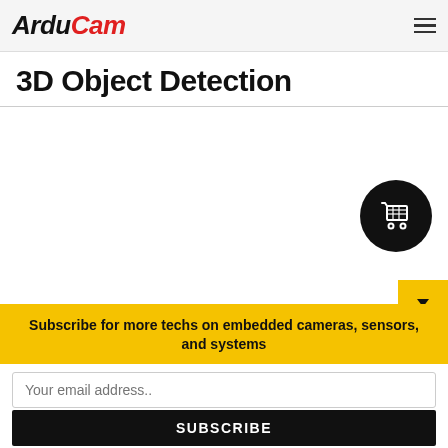ArduCam
3D Object Detection
[Figure (illustration): Shopping cart icon on black circular button]
[Figure (illustration): Yellow dropdown/scroll indicator button with downward triangle]
Subscribe for more techs on embedded cameras, sensors, and systems
Your email address..
SUBSCRIBE